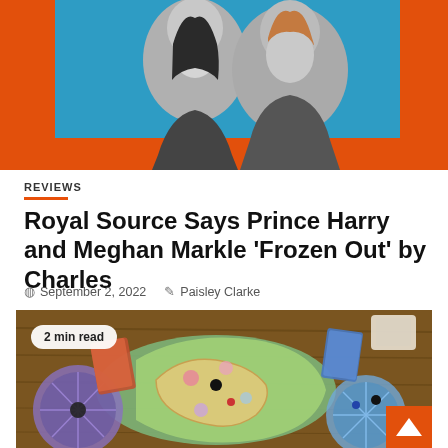[Figure (photo): Hero image with orange background, blue rectangle inset, and black-and-white photo of two people (man and woman, resembling Prince Harry and Meghan Markle) against colored background]
REVIEWS
Royal Source Says Prince Harry and Meghan Markle ‘Frozen Out’ by Charles
September 2, 2022   Paisley Clarke
[Figure (photo): Photo of a colorful board game spread out on a wooden table, with various game pieces, cards, and circular boards visible. A badge reads '2 min read'.]